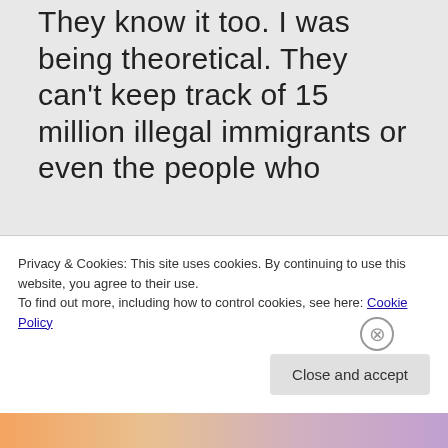They know it too. I was being theoretical. They can't keep track of 15 million illegal immigrants or even the people who
Privacy & Cookies: This site uses cookies. By continuing to use this website, you agree to their use.
To find out more, including how to control cookies, see here: Cookie Policy